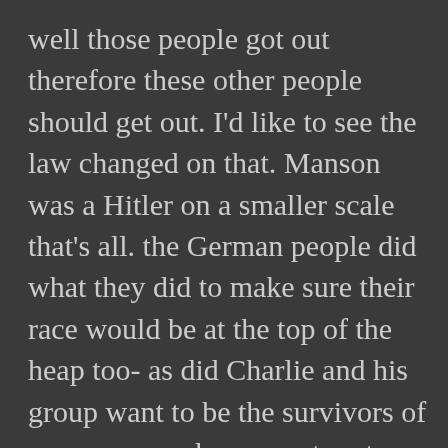well those people got out therefore these other people should get out. I'd like to see the law changed on that. Manson was a Hitler on a smaller scale that's all. the German people did what they did to make sure their race would be at the top of the heap too- as did Charlie and his group want to be the survivors of a race war and come out on top. Let's not romanticize their twisted ideals. Yes Leslie may be the only one